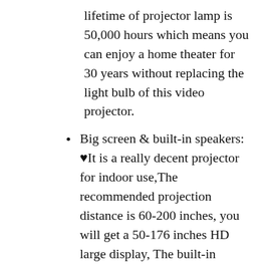lifetime of projector lamp is 50,000 hours which means you can enjoy a home theater for 30 years without replacing the light bulb of this video projector.
Big screen & built-in speakers: ♥It is a really decent projector for indoor use,The recommended projection distance is 60-200 inches, you will get a 50-176 inches HD large display, The built-in speakers provide quite good quality sound for a portable Projector, and the image is crisp and colorful, suitable for watching movies and games.
5. TORVISION PROJECTOR